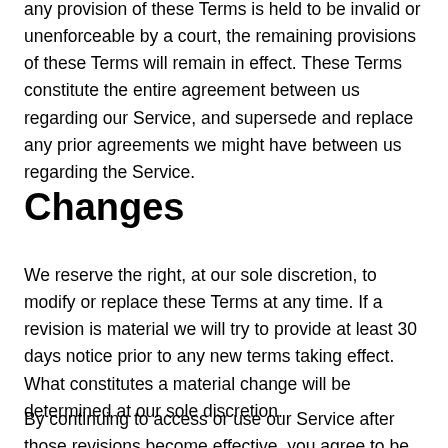any provision of these Terms is held to be invalid or unenforceable by a court, the remaining provisions of these Terms will remain in effect. These Terms constitute the entire agreement between us regarding our Service, and supersede and replace any prior agreements we might have between us regarding the Service.
Changes
We reserve the right, at our sole discretion, to modify or replace these Terms at any time. If a revision is material we will try to provide at least 30 days notice prior to any new terms taking effect. What constitutes a material change will be determined at our sole discretion.
By continuing to access or use our Service after those revisions become effective, you agree to be bound by